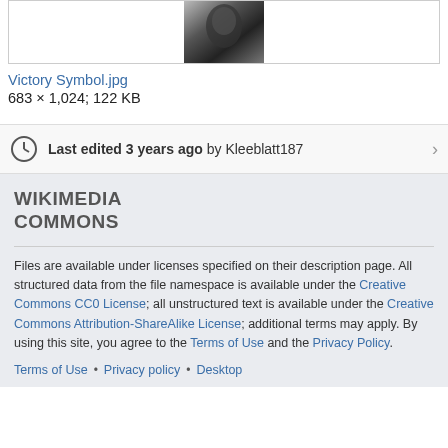[Figure (photo): Partial black and white photograph visible at top of page, cropped]
Victory Symbol.jpg
683 × 1,024; 122 KB
Last edited 3 years ago by Kleeblatt187
[Figure (logo): Wikimedia Commons logo text]
Files are available under licenses specified on their description page. All structured data from the file namespace is available under the Creative Commons CC0 License; all unstructured text is available under the Creative Commons Attribution-ShareAlike License; additional terms may apply. By using this site, you agree to the Terms of Use and the Privacy Policy.
Terms of Use • Privacy policy • Desktop